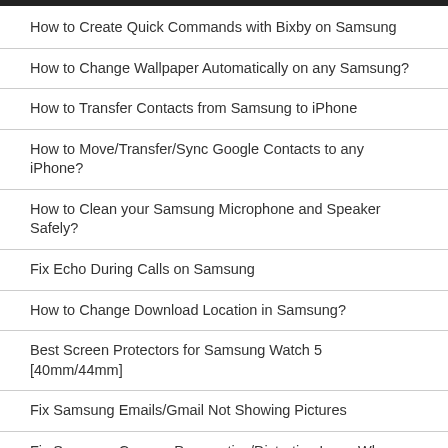How to Create Quick Commands with Bixby on Samsung
How to Change Wallpaper Automatically on any Samsung?
How to Transfer Contacts from Samsung to iPhone
How to Move/Transfer/Sync Google Contacts to any iPhone?
How to Clean your Samsung Microphone and Speaker Safely?
Fix Echo During Calls on Samsung
How to Change Download Location in Samsung?
Best Screen Protectors for Samsung Watch 5 [40mm/44mm]
Fix Samsung Emails/Gmail Not Showing Pictures
Fix Samsung Camera Perspective/Distortion Issue When Placed